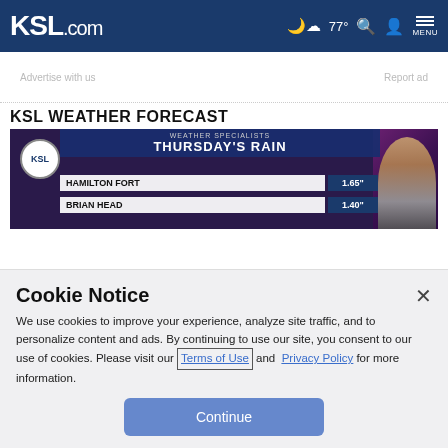KSL.com  77° MENU
Advertise with us    Report ad
KSL WEATHER FORECAST
[Figure (screenshot): KSL Weather Specialists graphic showing Thursday's Rain with Hamilton Fort 1.65" and Brian Head 1.40"]
Cookie Notice
We use cookies to improve your experience, analyze site traffic, and to personalize content and ads. By continuing to use our site, you consent to our use of cookies. Please visit our Terms of Use and Privacy Policy for more information.
Continue